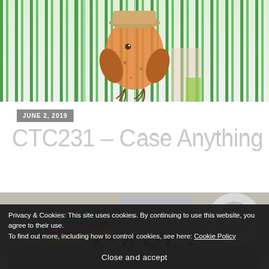[Figure (photo): Top portion of a craft/art card showing a hand-drawn bird wearing a hat with green stripe decorations on the sides]
JUNE 2, 2019
CTC231 – Case Anything
[Figure (photo): Photo of craft supplies including colorful markers (teal, pink, yellow), glitter paper, and tape on a grey surface with large 'CASE:' text overlay]
Privacy & Cookies: This site uses cookies. By continuing to use this website, you agree to their use.
To find out more, including how to control cookies, see here: Cookie Policy
Close and accept